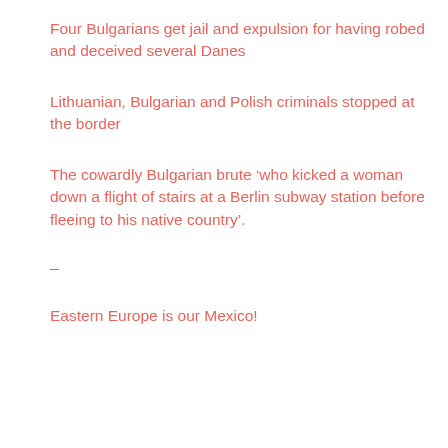Four Bulgarians get jail and expulsion for having robed and deceived several Danes
Lithuanian, Bulgarian and Polish criminals stopped at the border
The cowardly Bulgarian brute ‘who kicked a woman down a flight of stairs at a Berlin subway station before fleeing to his native country’.
–
Eastern Europe is our Mexico!